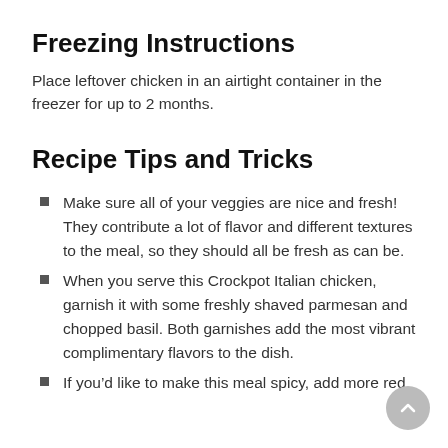Freezing Instructions
Place leftover chicken in an airtight container in the freezer for up to 2 months.
Recipe Tips and Tricks
Make sure all of your veggies are nice and fresh! They contribute a lot of flavor and different textures to the meal, so they should all be fresh as can be.
When you serve this Crockpot Italian chicken, garnish it with some freshly shaved parmesan and chopped basil. Both garnishes add the most vibrant complimentary flavors to the dish.
If you’d like to make this meal spicy, add more red